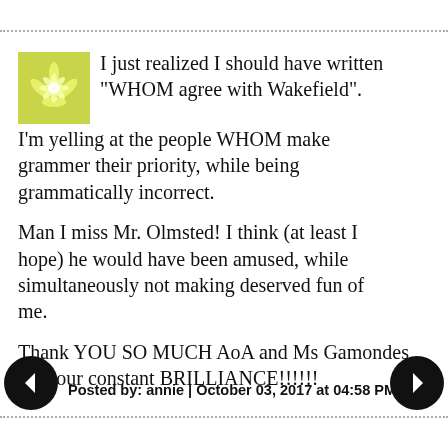I just realized I should have written "WHOM agree with Wakefield". I'm yelling at the people WHOM make grammer their priority, while being grammatically incorrect.

Man I miss Mr. Olmsted! I think (at least I hope) he would have been amused, while simultaneously not making deserved fun of me.

Thank YOU SO MUCH AoA and Ms Gamondes for your constant BRILLIANCE!!!!!!
Posted by: annie | October 03, 2017 at 04:58 PM